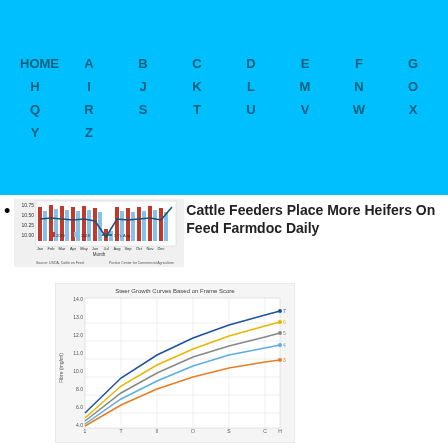HOME A B C D E F G H I J K L M N O P Q R S T U V W X Y Z
[Figure (bar-chart): Bar chart showing cattle on feed data for 2019, 2018, and 5-year average by month (Jan-Dec). Y-axis range approximately 10.00-10.75. Source: USDA Cattle on Feed, Purdue Center for Commercial Agriculture.]
Cattle Feeders Place More Heifers On Feed Farmdoc Daily
[Figure (line-chart): Steer Growth Curves based on Frame Score. Multiple curves (lines) in blue, yellow, gray, darker blue, and orange showing weight (lbs) over time for different frame scores (7, 6, 5, 4, 3). X-axis shows time periods, y-axis shows weight.]